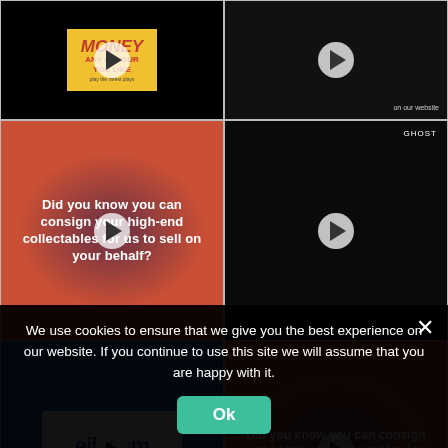[Figure (screenshot): Grid of 6 video thumbnails from eil.com website showing music collectables content]
We use cookies to ensure that we give you the best experience on our website. If you continue to use this site we will assume that you are happy with it.
Ok